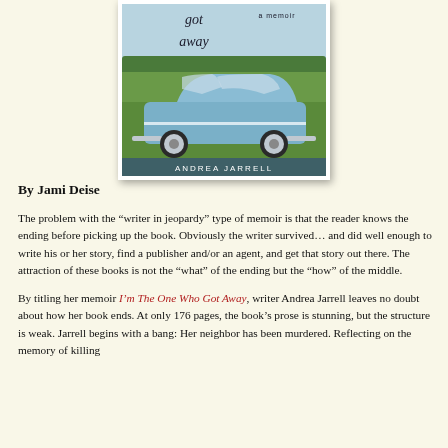[Figure (photo): Book cover of 'I'm The One Who Got Away' memoir by Andrea Jarrell, showing a vintage blue car on a grassy field with trees in the background. Text reads 'got away', 'a memoir', and 'ANDREA JARRELL'.]
By Jami Deise
The problem with the “writer in jeopardy” type of memoir is that the reader knows the ending before picking up the book. Obviously the writer survived… and did well enough to write his or her story, find a publisher and/or an agent, and get that story out there. The attraction of these books is not the “what” of the ending but the “how” of the middle.
By titling her memoir I’m The One Who Got Away, writer Andrea Jarrell leaves no doubt about how her book ends. At only 176 pages, the book’s prose is stunning, but the structure is weak. Jarrell begins with a bang: Her neighbor has been murdered. Reflecting on the memory of killing… [continues]